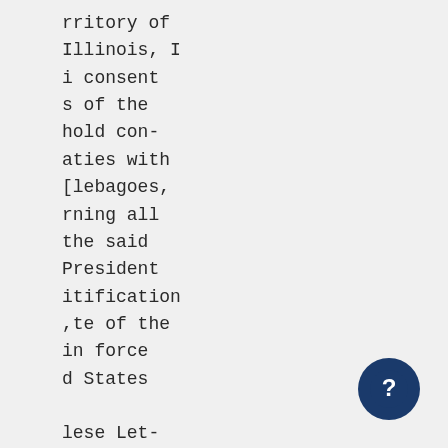rritory of
Illinois, I
i consent
s of the
hold con-
aties with
[lebagoes,
rning all
the said
President
itification
,te of the
in force
d States

lese Let-
il of the

nder my-
th day of

; United

DAMS.
[Figure (other): Dark blue circular help/info button with a question mark icon, positioned in the bottom-right corner of the page]